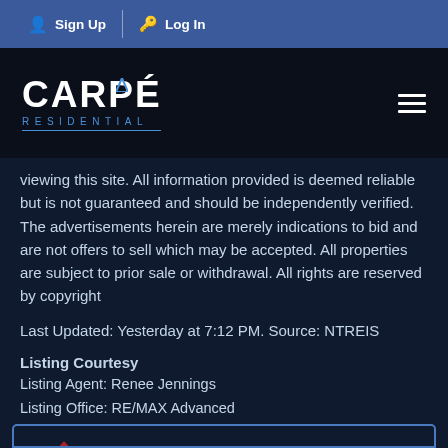Sign Up  Log In
[Figure (logo): Carpé Residential logo — white bold text with blue triangle accent and 'RESIDENTIAL' in blue spaced letters below, on dark background]
viewing this site. All information provided is deemed reliable but is not guaranteed and should be independently verified. The advertisements herein are merely indications to bid and are not offers to sell which may be accepted. All properties are subject to prior sale or withdrawal. All rights are reserved by copyright
Last Updated: Yesterday at 7:12 PM. Source: NTREIS
Listing Courtesy
Listing Agent: Renee Jennings
Listing Office: RE/MAX Advanced
[Figure (logo): NTREIS logo — red, white and blue stylized house/flag icon with 'ntreis' text below in gray]